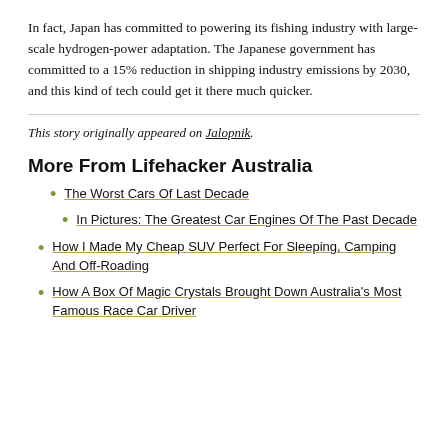In fact, Japan has committed to powering its fishing industry with large-scale hydrogen-power adaptation. The Japanese government has committed to a 15% reduction in shipping industry emissions by 2030, and this kind of tech could get it there much quicker.
This story originally appeared on Jalopnik.
More From Lifehacker Australia
The Worst Cars Of Last Decade
In Pictures: The Greatest Car Engines Of The Past Decade
How I Made My Cheap SUV Perfect For Sleeping, Camping And Off-Roading
How A Box Of Magic Crystals Brought Down Australia's Most Famous Race Car Driver